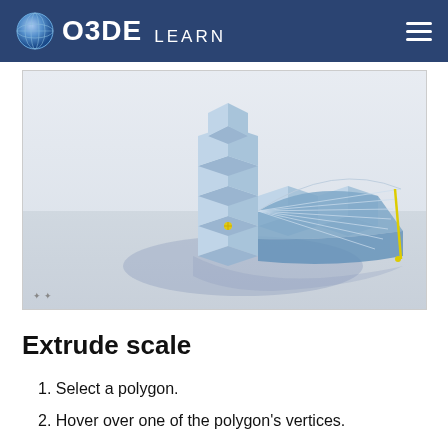O3DE LEARN
[Figure (screenshot): 3D viewport showing an extruded shape with blue polygon geometry, including cube-like stacked blocks and a curved fan-shaped extrusion with yellow edge highlight, casting a shadow on a light gray ground plane.]
Extrude scale
1. Select a polygon.
2. Hover over one of the polygon's vertices.